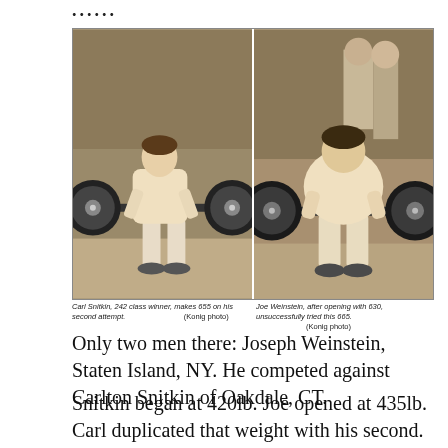......
[Figure (photo): Two side-by-side black and white photographs of weightlifters performing deadlifts in a competition setting. Left photo shows Carl Snitkin lifting. Right photo shows Joe Weinstein lifting.]
Carl Snitkin, 242 class winner, makes 655 on his second attempt. (Konig photo) Joe Weinstein, after opening with 630, unsuccessfully tried this 665. (Konig photo)
Only two men there: Joseph Weinstein, Staten Island, NY. He competed against Carlton Snitkin of Oakdale, CT.
Snitkin began at 420lb. Joe opened at 435lb. Carl duplicated that weight with his second. He tried 440 which fell short. Joe leaped in